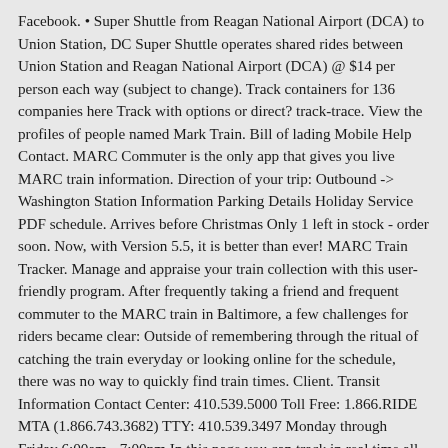Facebook. • Super Shuttle from Reagan National Airport (DCA) to Union Station, DC Super Shuttle operates shared rides between Union Station and Reagan National Airport (DCA) @ $14 per person each way (subject to change). Track containers for 136 companies here Track with options or direct? track-trace. View the profiles of people named Mark Train. Bill of lading Mobile Help Contact. MARC Commuter is the only app that gives you live MARC train information. Direction of your trip: Outbound -> Washington Station Information Parking Details Holiday Service PDF schedule. Arrives before Christmas Only 1 left in stock - order soon. Now, with Version 5.5, it is better than ever! MARC Train Tracker. Manage and appraise your train collection with this user-friendly program. After frequently taking a friend and frequent commuter to the MARC train in Baltimore, a few challenges for riders became clear: Outside of remembering through the ritual of catching the train everyday or looking online for the schedule, there was no way to quickly find train times. Client. Transit Information Contact Center: 410.539.5000 Toll Free: 1.866.RIDE MTA (1.866.743.3682) TTY: 410.539.3497 Monday through Friday 6:00am - 7:00pm In this page you can track in real time all the satellites orbiting the Earth, with both 2D and 3D interactive representations, predict their. Skills. Marine. Écoutez de la musique en streaming sans